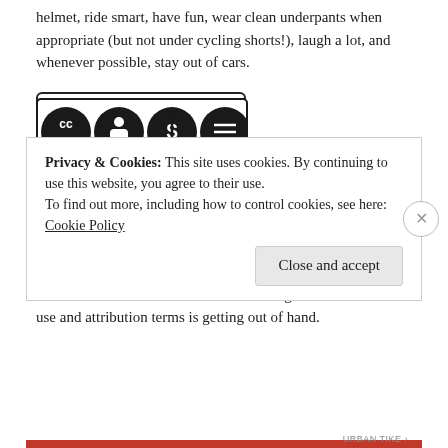helmet, ride smart, have fun, wear clean underpants when appropriate (but not under cycling shorts!), laugh a lot, and whenever possible, stay out of cars.
[Figure (logo): Creative Commons BY NC ND license logo with four circular icons]
This work is licensed under a Creative Commons Attribution-NonCommercial-NoDerivatives 4.0 International License.
We LOVE to share our work, but the number of commercial sites using our photos (of our kids!) without permission, and/or non-commercial sites not following Creative Commons use and attribution terms is getting out of hand.
Privacy & Cookies: This site uses cookies. By continuing to use this website, you agree to their use.
To find out more, including how to control cookies, see here: Cookie Policy